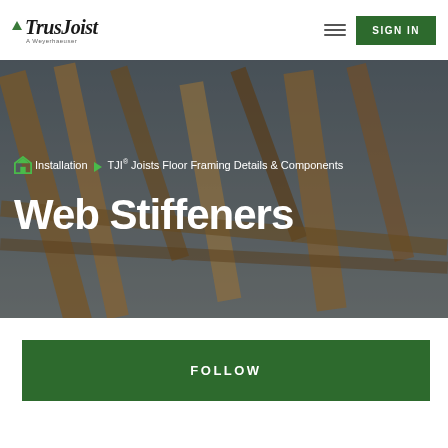TrusJoist A Weyerhaeuser | SIGN IN
[Figure (screenshot): Hero banner with wood/timber background image showing TJI joists framing]
Installation ▶ TJI® Joists Floor Framing Details & Components
Web Stiffeners
FOLLOW